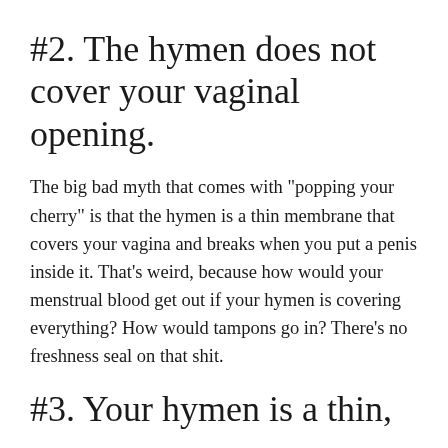#2. The hymen does not cover your vaginal opening.
The big bad myth that comes with "popping your cherry" is that the hymen is a thin membrane that covers your vagina and breaks when you put a penis inside it. That's weird, because how would your menstrual blood get out if your hymen is covering everything? How would tampons go in? There's no freshness seal on that shit.
#3. Your hymen is a thin,